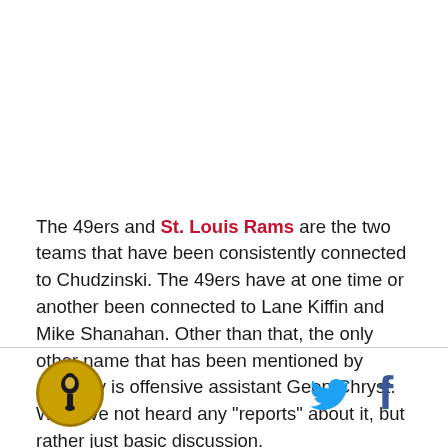The 49ers and St. Louis Rams are the two teams that have been consistently connected to Chudzinski. The 49ers have at one time or another been connected to Lane Kiffin and Mike Shanahan. Other than that, the only other name that has been mentioned by anybody is offensive assistant Geep Chryst. We have not heard any "reports" about it, but rather just basic discussion.
[Figure (logo): Circular gold and black logo with a lantern/torch icon]